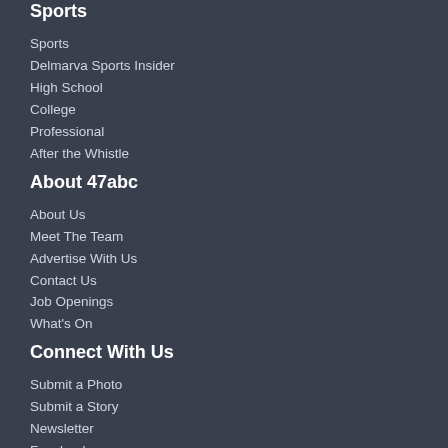Sports
Sports
Delmarva Sports Insider
High School
College
Professional
After the Whistle
About 47abc
About Us
Meet The Team
Advertise With Us
Contact Us
Job Openings
What's On
Connect With Us
Submit a Photo
Submit a Story
Newsletter
Facebook
Twitter
Instagram
YouTube
Community
Pets
Foodie Friday